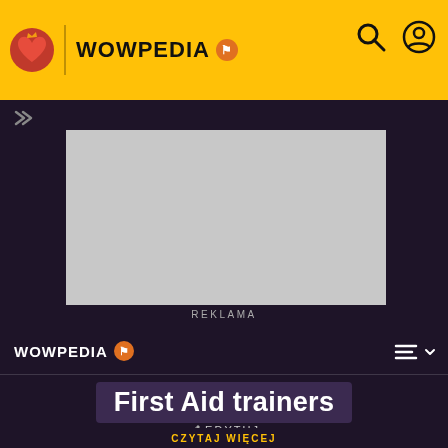WOWPEDIA
[Figure (screenshot): Advertisement placeholder (gray rectangle) with REKLAMA label below]
REKLAMA
WOWPEDIA
First Aid trainers
EDYTUJ
[Figure (illustration): Green dragon/creature illustration inside orange-bordered promo panel]
CZYTAJ WIĘCEJ